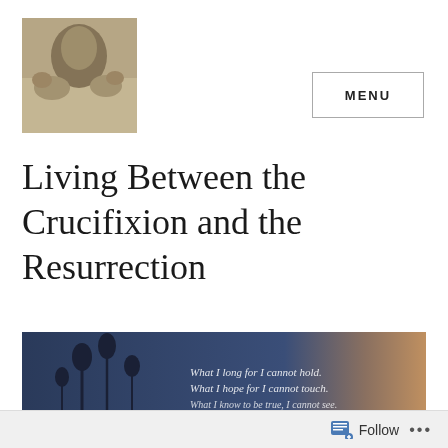[Figure (photo): Sepia-toned photo of a person holding or nuzzling a dog, used as a blog logo/avatar]
MENU
Living Between the Crucifixion and the Resurrection
[Figure (photo): Dark blue-toned image with silhouetted flowers and handwritten text reading: 'What I long for I cannot hold. What I hope for I cannot touch. What I know to be true, I cannot see.']
Follow